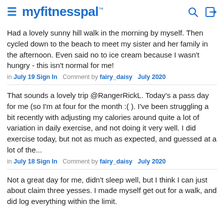myfitnesspal
Had a lovely sunny hill walk in the morning by myself. Then cycled down to the beach to meet my sister and her family in the afternoon. Even said no to ice cream because I wasn't hungry - this isn't normal for me!
in July 19 Sign In   Comment by fairy_daisy   July 2020
That sounds a lovely trip @RangerRickL. Today's a pass day for me (so I'm at four for the month :( ). I've been struggling a bit recently with adjusting my calories around quite a lot of variation in daily exercise, and not doing it very well. I did exercise today, but not as much as expected, and guessed at a lot of the...
in July 18 Sign In   Comment by fairy_daisy   July 2020
Not a great day for me, didn't sleep well, but I think I can just about claim three yesses. I made myself get out for a walk, and did log everything within the limit.